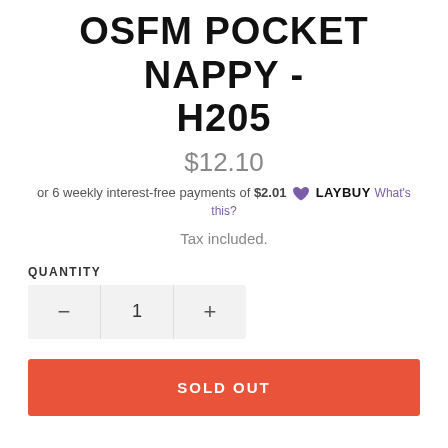OSFM POCKET NAPPY - H205
$12.10
or 6 weekly interest-free payments of $2.01 LAY BUY What's this?
Tax included.
QUANTITY
1
SOLD OUT